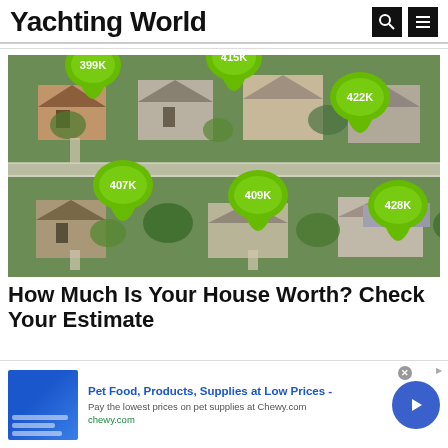Yachting World
[Figure (photo): Aerial photograph of a residential neighborhood with green map pin markers showing property values: 399K, 415K, 422K, 407K, 409K, 428K]
How Much Is Your House Worth? Check Your Estimate
[Figure (infographic): Advertisement banner for Chewy.com: 'Pet Food, Products, Supplies at Low Prices - Pay the lowest prices on pet supplies at Chewy.com' with a navigation arrow button and small close button]